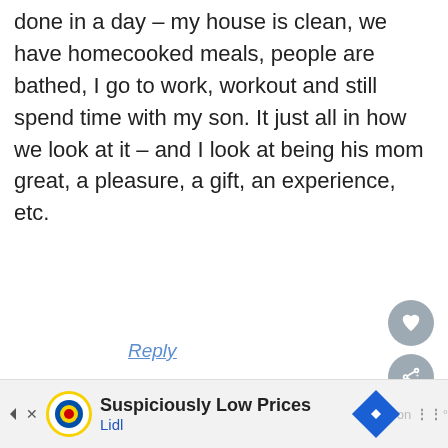done in a day – my house is clean, we have homecooked meals, people are bathed, I go to work, workout and still spend time with my son. It just all in how we look at it – and I look at being his mom great, a pleasure, a gift, an experience, etc.
Reply
Carly @ Snack Therapy says
April 18, 2013 at 10:59 am
[Figure (infographic): Advertisement banner: Suspiciously Low Prices - Lidl]
WHAT'S NEXT → 26+10